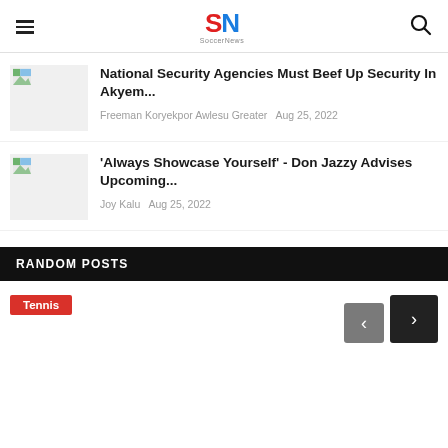SN
National Security Agencies Must Beef Up Security In Akyem...
Freeman Koryekpor Awlesu Greater  Aug 25, 2022
'Always Showcase Yourself' - Don Jazzy Advises Upcoming...
Joy Kalu  Aug 25, 2022
RANDOM POSTS
Tennis